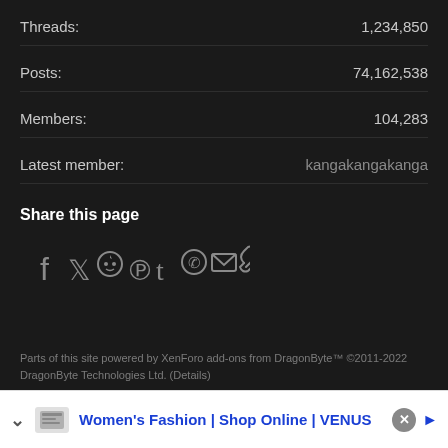Threads: 1,234,850
Posts: 74,162,538
Members: 104,283
Latest member: kangakangakanga
Share this page
[Figure (infographic): Social share icons: Facebook, Twitter, Reddit, Pinterest, Tumblr, WhatsApp, Email, Link]
Parts of this site powered by XenForo add-ons from DragonByte™ ©2011-2022 DragonByte Technologies Ltd. (Details)
Design by: Pixel Exit | Add-ons by ThemeHouse | Media embeds via s9e/MediaSites
Women's Fashion | Shop Online | VENUS